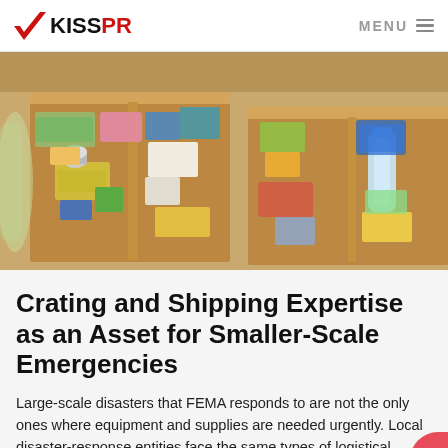KISSPR  MENU
[Figure (photo): Open cardboard boxes filled with various packaged food items and supplies, viewed from above.]
Crating and Shipping Expertise as an Asset for Smaller-Scale Emergencies
Large-scale disasters that FEMA responds to are not the only ones where equipment and supplies are needed urgently. Local disaster-response entities face the same types of logistical challenges—challenges where the expertise of an industry-